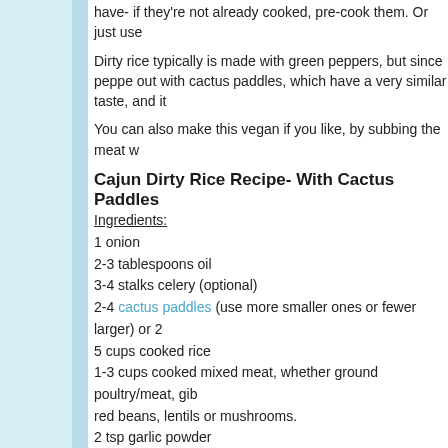have- if they're not already cooked, pre-cook them. Or just use
Dirty rice typically is made with green peppers, but since peppers out with cactus paddles, which have a very similar taste, and it
You can also make this vegan if you like, by subbing the meat w
Cajun Dirty Rice Recipe- With Cactus Paddles
Ingredients:
1 onion
2-3 tablespoons oil
3-4 stalks celery (optional)
2-4 cactus paddles (use more smaller ones or fewer larger) or 2
5 cups cooked rice
1-3 cups cooked mixed meat, whether ground poultry/meat, gib red beans, lentils or mushrooms.
2 tsp garlic powder
3 tbsp Cajun seasoning (or more or less to taste)
Hot sauce (optional)
Salt (as needed)
Scallions (optional)
Instructions:
1. Chop onion and fry in oil until golden.